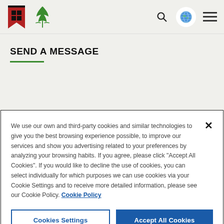[Figure (logo): Website header with red bookmark logo, green cannabis leaf logo, search icon, globe language icon, and hamburger menu]
SEND A MESSAGE
We use our own and third-party cookies and similar technologies to give you the best browsing experience possible, to improve our services and show you advertising related to your preferences by analyzing your browsing habits. If you agree, please click "Accept All Cookies". If you would like to decline the use of cookies, you can select individually for which purposes we can use cookies via your Cookie Settings and to receive more detailed information, please see our Cookie Policy. Cookie Policy
Cookies Settings | Accept All Cookies